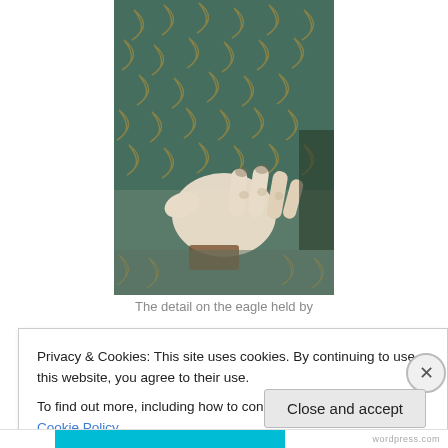[Figure (photo): Close-up photograph of a hand resting on ornate embroidered textile with eagle feather pattern in teal, gold, and brown colors]
The detail on the eagle held by
Privacy & Cookies: This site uses cookies. By continuing to use this website, you agree to their use.
To find out more, including how to control cookies, see here: Cookie Policy